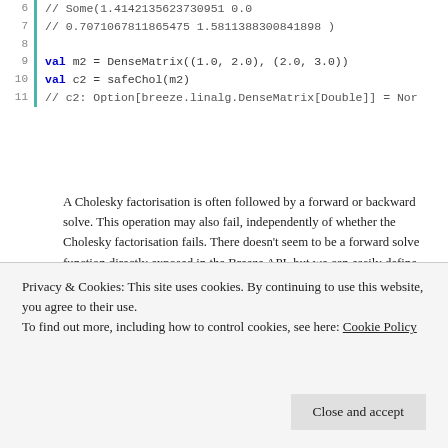[Figure (screenshot): Code block showing Scala code lines 6-11 with line numbers, teal vertical bar, keyword highlighting. Lines include comments with Some() result, val m2 DenseMatrix, val c2 safeChol, and c2 Option comment.]
A Cholesky factorisation is often followed by a forward or backward solve. This operation may also fail, independently of whether the Cholesky factorisation fails. There doesn’t seem to be a forward solve function directly exposed in the Breeze API, but we can easily define one, which I call dangerousForwardSolve, as it will throw an exception if it fails, just like the cholesky function. But just as for the cholesky function, we can wrap up the dangerous function into a safe one that returns an Option.
[Figure (screenshot): Code block showing Scala code lines 1-2+: import com.github.fommil.netlib.BLAS.{getInstance => b] and def dangerousForwardSolve(A: DenseMatrix[Double], y: De...]
Privacy & Cookies: This site uses cookies. By continuing to use this website, you agree to their use. To find out more, including how to control cookies, see here: Cookie Policy
Close and accept